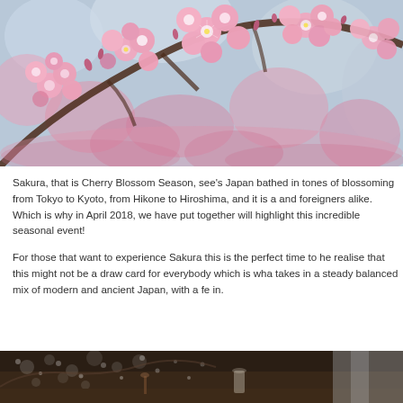[Figure (photo): Close-up photo of pink cherry blossom (sakura) flowers on branches against a soft bokeh background of pink and blue tones.]
Sakura, that is Cherry Blossom Season, see's Japan bathed in tones of blossoming from Tokyo to Kyoto, from Hikone to Hiroshima, and it is a and foreigners alike. Which is why in April 2018, we have put together will highlight this incredible seasonal event!
For those that want to experience Sakura this is the perfect time to he realise that this might not be a draw card for everybody which is wha takes in a steady balanced mix of modern and ancient Japan, with a fe in.
[Figure (photo): Photo showing a rustic indoor Japanese setting with small white bokeh lights and decorative items on a dark wooden surface.]